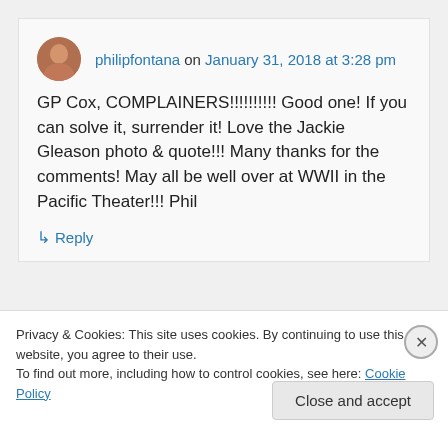philipfontana on January 31, 2018 at 3:28 pm
GP Cox, COMPLAINERS!!!!!!!!!! Good one! If you can solve it, surrender it! Love the Jackie Gleason photo & quote!!! Many thanks for the comments! May all be well over at WWII in the Pacific Theater!!! Phil
↳ Reply
Privacy & Cookies: This site uses cookies. By continuing to use this website, you agree to their use.
To find out more, including how to control cookies, see here: Cookie Policy
Close and accept